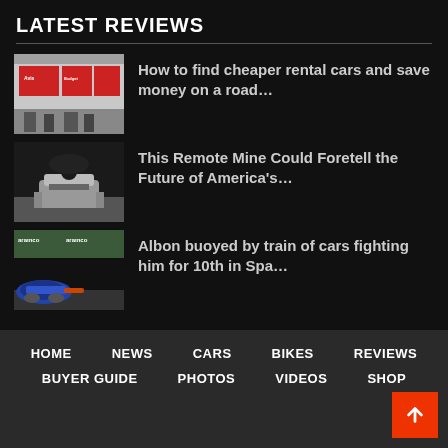LATEST REVIEWS
[Figure (photo): People outside a rental car store front (Avis/Budget)]
How to find cheaper rental cars and save money on a road…
[Figure (photo): Remote mine / robot vehicle on rocky ground]
This Remote Mine Could Foretell the Future of America's…
[Figure (photo): F1 racing car with Aramco sponsorship branding at Spa]
Albon buoyed by train of cars fighting him for 10th in Spa…
HOME  NEWS  CARS  BIKES  REVIEWS  BUYER GUIDE  PHOTOS  VIDEOS  SHOP